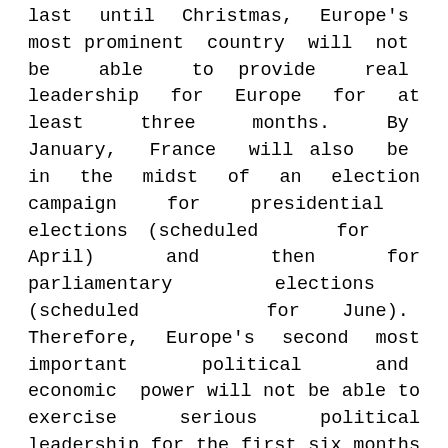last until Christmas, Europe's most prominent country will not be able to provide real leadership for Europe for at least three months. By January, France will also be in the midst of an election campaign for presidential elections (scheduled for April) and then for parliamentary elections (scheduled for June). Therefore, Europe's second most important political and economic power will not be able to exercise serious political leadership for the first six months of 2022. And then come July and August: holiday season in Europe.
By September next year, we will thus have experienced a period of more than 12 months in which the two most important countries in Europe will not have been able